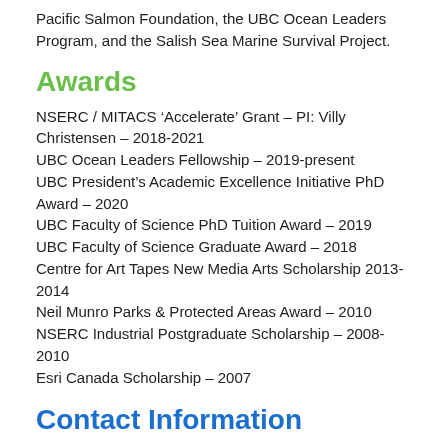Pacific Salmon Foundation, the UBC Ocean Leaders Program, and the Salish Sea Marine Survival Project.
Awards
NSERC / MITACS ‘Accelerate’ Grant – PI: Villy Christensen – 2018-2021
UBC Ocean Leaders Fellowship – 2019-present
UBC President’s Academic Excellence Initiative PhD Award – 2020
UBC Faculty of Science PhD Tuition Award – 2019
UBC Faculty of Science Graduate Award – 2018
Centre for Art Tapes New Media Arts Scholarship 2013-2014
Neil Munro Parks & Protected Areas Award – 2010
NSERC Industrial Postgraduate Scholarship – 2008-2010
Esri Canada Scholarship – 2007
Contact Information
Email: g.oldford@oceans.ubc.ca